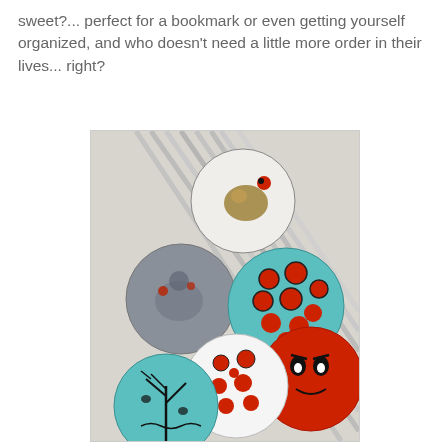sweet?... perfect for a bookmark or even getting yourself organized, and who doesn't need a little more order in their lives... right?
[Figure (photo): Photo of decorative fabric-covered button bookmarks/paper clips with patterned designs including turtles, polka dots, red monster faces, and floral patterns, attached to metal binder clips, arranged on a light background.]